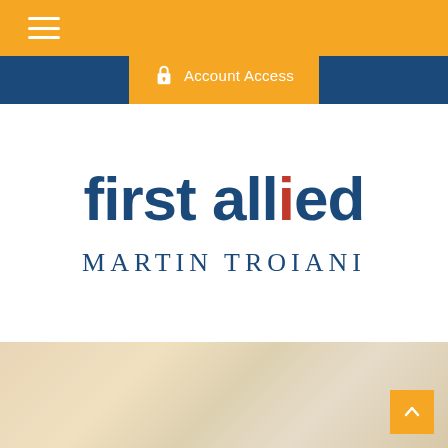[Figure (logo): First Allied financial services logo with 'first allied' text in dark blue, with a red dot above the 'i' in 'allied']
MARTIN TROIANI
[Figure (screenshot): Website header screenshot showing orange top bar with hamburger menu, dark blue navigation bar, orange Account Access panel with lock icon, white content area, and blurred tan/cream background at bottom with orange scroll-to-top button]